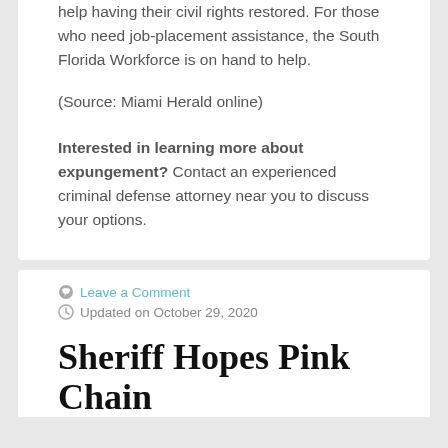help having their civil rights restored. For those who need job-placement assistance, the South Florida Workforce is on hand to help.
(Source: Miami Herald online)
Interested in learning more about expungement? Contact an experienced criminal defense attorney near you to discuss your options.
Leave a Comment
Updated on October 29, 2020
Sheriff Hopes Pink Chain